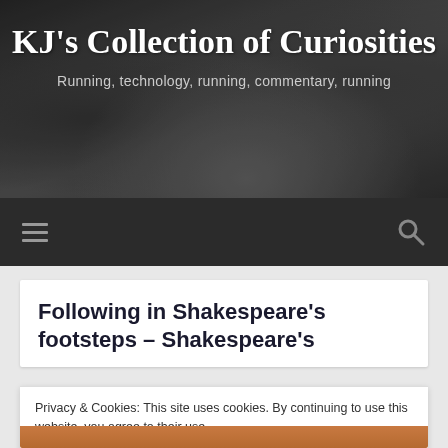KJ's Collection of Curiosities
Running, technology, running, commentary, running
Following in Shakespeare's footsteps – Shakespeare's
Privacy & Cookies: This site uses cookies. By continuing to use this website, you agree to their use.
To find out more, including how to control cookies, see here: Cookie Policy
Close and accept